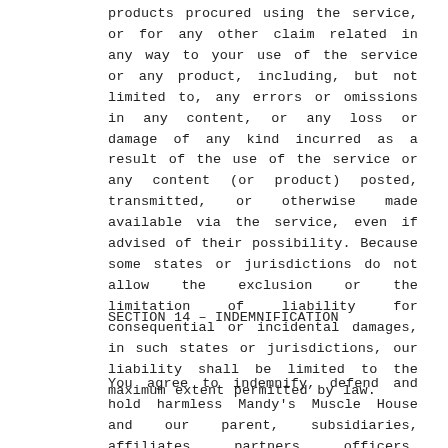products procured using the service, or for any other claim related in any way to your use of the service or any product, including, but not limited to, any errors or omissions in any content, or any loss or damage of any kind incurred as a result of the use of the service or any content (or product) posted, transmitted, or otherwise made available via the service, even if advised of their possibility. Because some states or jurisdictions do not allow the exclusion or the limitation of liability for consequential or incidental damages, in such states or jurisdictions, our liability shall be limited to the maximum extent permitted by law.
SECTION 14 – INDEMNIFICATION
You agree to indemnify, defend and hold harmless Mandy's Muscle House and our parent, subsidiaries, affiliates, partners, officers, directors, agents, contractors, licensors, service providers,